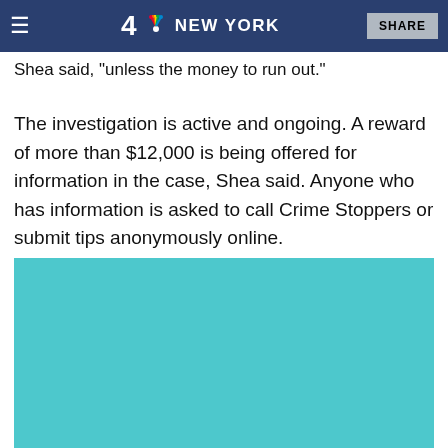4 NBC NEW YORK — SHARE
Shea said, "unless the money to run out."
The investigation is active and ongoing. A reward of more than $12,000 is being offered for information in the case, Shea said. Anyone who has information is asked to call Crime Stoppers or submit tips anonymously online.
[Figure (other): Teal/cyan colored rectangular image placeholder block]